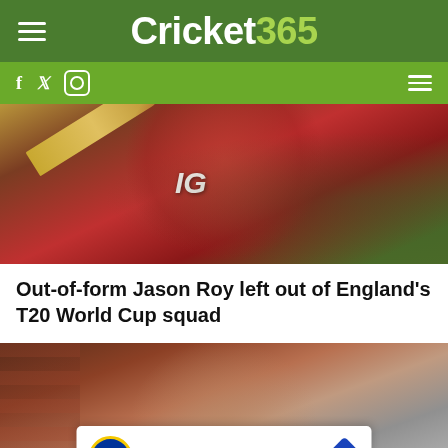Cricket365
[Figure (photo): Cricket player in red England kit swinging a bat, wearing IG-branded jersey]
Out-of-form Jason Roy left out of England's T20 World Cup squad
[Figure (photo): Middle-aged man with grey hair and glasses in front of a brick wall, with Lidl advertisement overlay showing 'In-store shopping']